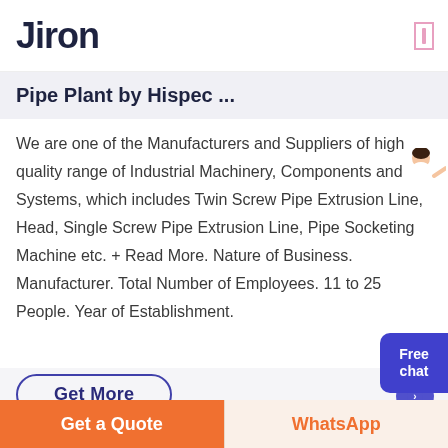Jiron
Pipe Plant by Hispec ...
We are one of the Manufacturers and Suppliers of high quality range of Industrial Machinery, Components and Systems, which includes Twin Screw Pipe Extrusion Line, Head, Single Screw Pipe Extrusion Line, Pipe Socketing Machine etc. + Read More. Nature of Business. Manufacturer. Total Number of Employees. 11 to 25 People. Year of Establishment.
[Figure (illustration): Free chat widget with avatar person and blue rounded button labeled 'Free chat']
Get More
Get a Quote   WhatsApp